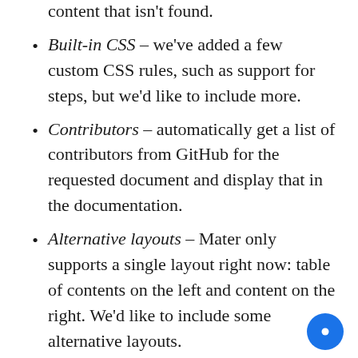content that isn't found.
Built-in CSS – we've added a few custom CSS rules, such as support for steps, but we'd like to include more.
Contributors – automatically get a list of contributors from GitHub for the requested document and display that in the documentation.
Alternative layouts – Mater only supports a single layout right now: table of contents on the left and content on the right. We'd like to include some alternative layouts.